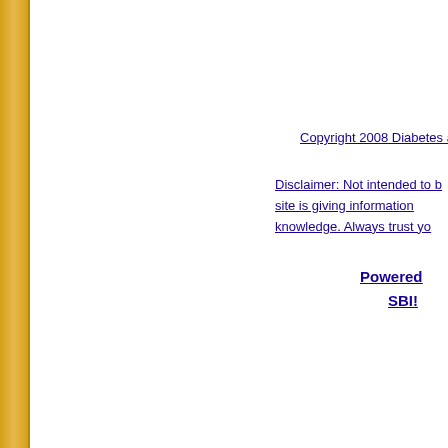Copyright 2008 Diabetes and N
Disclaimer: Not intended to be medical advice. This site is giving information based on our own knowledge. Always trust yo
Powered
SBI!